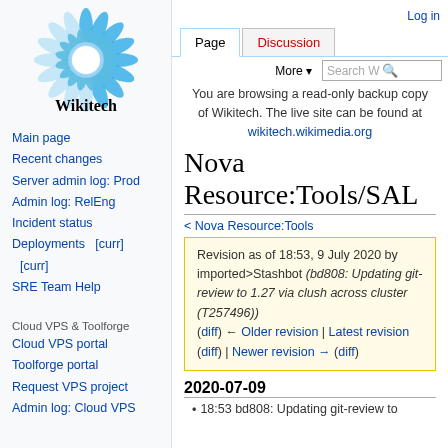[Figure (logo): Wikitech logo: blue sunflower/gear circular design above the text 'Wikitech']
Log in
Page | Discussion | More | Search Wikitech
You are browsing a read-only backup copy of Wikitech. The live site can be found at wikitech.wikimedia.org
Main page
Recent changes
Server admin log: Prod
Admin log: RelEng
Incident status
Deployments   [curr] [curr]
SRE Team Help
Cloud VPS & Toolforge
Cloud VPS portal
Toolforge portal
Request VPS project
Admin log: Cloud VPS
Nova Resource:Tools/SAL
< Nova Resource:Tools
Revision as of 18:53, 9 July 2020 by imported>Stashbot (bd808: Updating git-review to 1.27 via clush across cluster (T257496)) (diff) ← Older revision | Latest revision (diff) | Newer revision → (diff)
2020-07-09
18:53 bd808: Updating git-review to